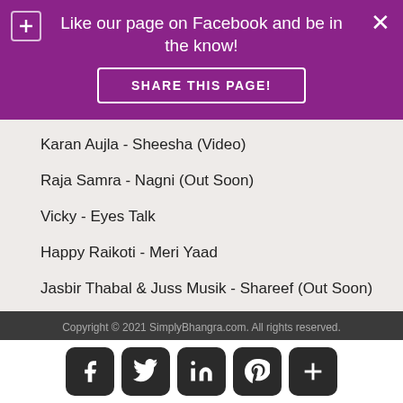Like our page on Facebook and be in the know!
SHARE THIS PAGE!
Karan Aujla - Sheesha (Video)
Raja Samra - Nagni (Out Soon)
Vicky - Eyes Talk
Happy Raikoti - Meri Yaad
Jasbir Thabal & Juss Musik - Shareef (Out Soon)
Copyright © 2021 SimplyBhangra.com. All rights reserved.
[Figure (other): Social media icons: Facebook, Twitter, LinkedIn, Pinterest, Plus]